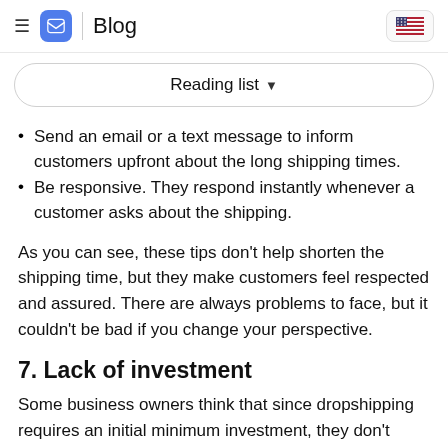Blog
Reading list
Send an email or a text message to inform customers upfront about the long shipping times.
Be responsive. They respond instantly whenever a customer asks about the shipping.
As you can see, these tips don't help shorten the shipping time, but they make customers feel respected and assured. There are always problems to face, but it couldn't be bad if you change your perspective.
7. Lack of investment
Some business owners think that since dropshipping requires an initial minimum investment, they don't have to have a business budget. However, note that it